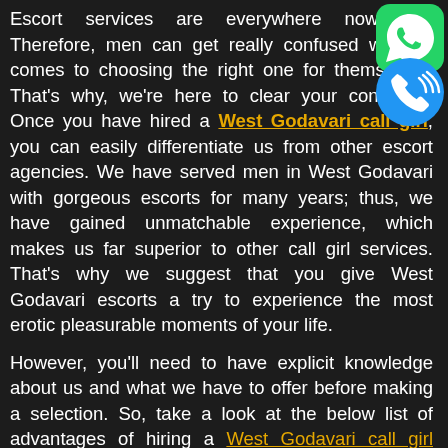Escort services are everywhere nowadays. Therefore, men can get really confused when it comes to choosing the right one for themselves. That's why, we're here to clear your confusion. Once you have hired a West Godavari call girl, you can easily differentiate us from other escort agencies. We have served men in West Godavari with gorgeous escorts for many years; thus, we have gained unmatchable experience, which makes us far superior to other call girl services. That's why we suggest that you give West Godavari escorts a try to experience the most erotic pleasurable moments of your life.
However, you'll need to have explicit knowledge about us and what we have to offer before making a selection. So, take a look at the below list of advantages of hiring a West Godavari call girl service.
Call us on: 7297803987
West Godavari Call Girl Helps Break Away From Your